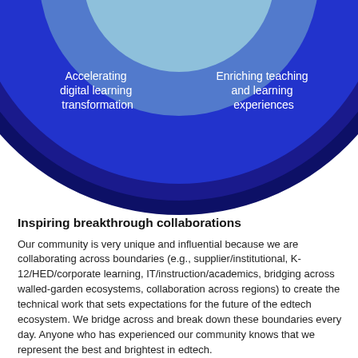[Figure (infographic): Partial circular/donut infographic showing a large dark blue circle with a lighter blue inner area at the top. Two white text labels appear on the left and right sides of the circle: 'Accelerating digital learning transformation' (left) and 'Enriching teaching and learning experiences' (right). The circle is cropped at the top.]
Inspiring breakthrough collaborations
Our community is very unique and influential because we are collaborating across boundaries (e.g., supplier/institutional, K-12/HED/corporate learning, IT/instruction/academics, bridging across walled-garden ecosystems, collaboration across regions) to create the technical work that sets expectations for the future of the edtech ecosystem. We bridge across and break down these boundaries every day. Anyone who has experienced our community knows that we represent the best and brightest in edtech.
Advancing ecosystem connectivity